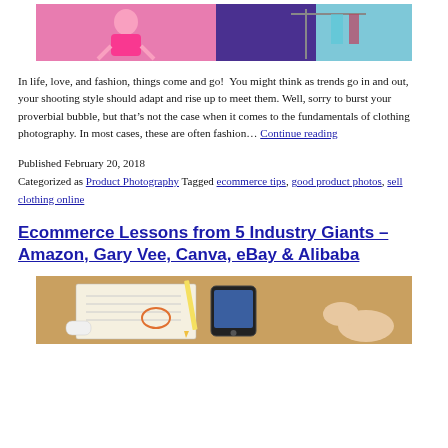[Figure (photo): Woman in pink dress near clothing rack, fashion/clothing photography scene]
In life, love, and fashion, things come and go!  You might think as trends go in and out, your shooting style should adapt and rise up to meet them. Well, sorry to burst your proverbial bubble, but that’s not the case when it comes to the fundamentals of clothing photography. In most cases, these are often fashion… Continue reading
Published February 20, 2018
Categorized as Product Photography Tagged ecommerce tips, good product photos, sell clothing online
Ecommerce Lessons from 5 Industry Giants – Amazon, Gary Vee, Canva, eBay & Alibaba
[Figure (photo): Person's hands working on papers with smartphone, pencil and yellow highlighter on wooden desk]